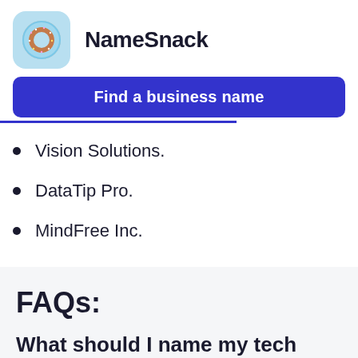NameSnack
Find a business name
Vision Solutions.
DataTip Pro.
MindFree Inc.
FAQs:
What should I name my tech